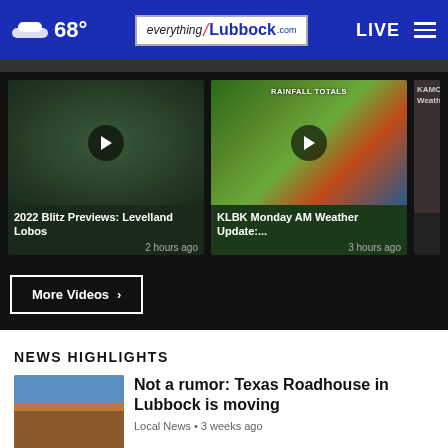68° everything/Lubbock.com LIVE
[Figure (screenshot): Video thumbnail: dark green blurry background with play button. Title: 2022 Blitz Previews: Levelland Lobos. 2 hours ago.]
[Figure (screenshot): Video thumbnail: Rainfall Totals radar map with play button. Title: KLBK Monday AM Weather Update:... 3 hours ago.]
[Figure (screenshot): Partial video thumbnail: KAMC Weath...]
More Videos ›
NEWS HIGHLIGHTS
[Figure (photo): Thumbnail photo of Texas Roadhouse building construction.]
Not a rumor: Texas Roadhouse in Lubbock is moving
Local News • 3 weeks ago